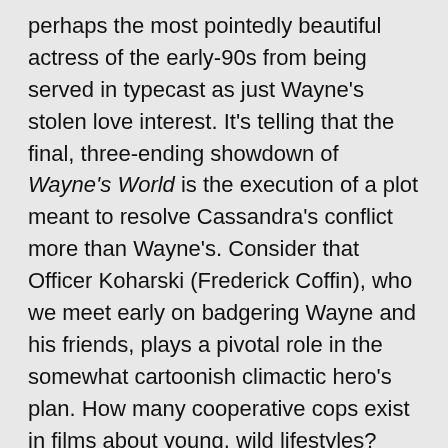perhaps the most pointedly beautiful actress of the early-90s from being served in typecast as just Wayne's stolen love interest. It's telling that the final, three-ending showdown of Wayne's World is the execution of a plot meant to resolve Cassandra's conflict more than Wayne's. Consider that Officer Koharski (Frederick Coffin), who we meet early on badgering Wayne and his friends, plays a pivotal role in the somewhat cartoonish climactic hero's plan. How many cooperative cops exist in films about young, wild lifestyles?
Wayne's stalking ex-girlfriend Stacy (Lara Flynn Boyle), at first positioned as an inconvenient-to-dangerous fixated psycho, is awarded a sympathizing character evaluation from Wayne's new love interest Cassandra Wong, an assessment packaged into an extended subtitle gag that dares to place the blame for Stacy's behavior on Wayne's